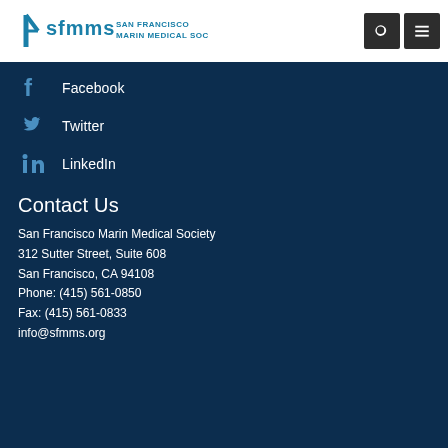[Figure (logo): SFMMS San Francisco Marin Medical Society logo with stylized lettering in teal/blue]
Facebook
Twitter
LinkedIn
Contact Us
San Francisco Marin Medical Society
312 Sutter Street, Suite 608
San Francisco, CA 94108
Phone: (415) 561-0850
Fax: (415) 561-0833
info@sfmms.org